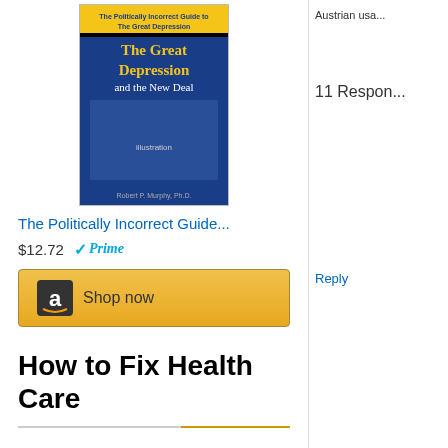[Figure (photo): Book cover for The Politically Incorrect Guide to the Great Depression and the New Deal]
The Politically Incorrect Guide...
$12.72  ✓Prime
[Figure (other): Amazon Shop now button]
How to Fix Health Care
[Figure (logo): Amazon logo with smile]
[Figure (photo): Book cover for The Primal Prescription]
Austrian usa...
11 Respon...
Reply